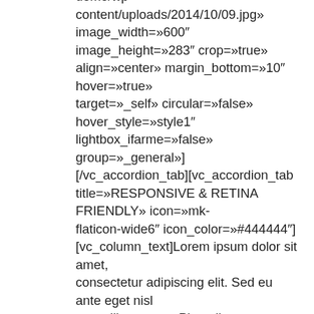demo/wp-content/uploads/2014/10/09.jpg» image_width=»600″ image_height=»283″ crop=»true» align=»center» margin_bottom=»10″ hover=»true» target=»_self» circular=»false» hover_style=»style1″ lightbox_ifarme=»false» group=»_general»] [/vc_accordion_tab][vc_accordion_tab title=»RESPONSIVE & RETINA FRIENDLY» icon=»mk-flaticon-wide6″ icon_color=»#444444″] [vc_column_text]Lorem ipsum dolor sit amet, consectetur adipiscing elit. Sed eu ante eget nisl convallis tempus .Phasellus ante lectus, tincidunt tincidunt dui a, rhoncus interdum est. Sed molestie quis augue ac pulvinar. Pellentesque egoists sed tortor egestas pretium. Nam eget fermentum tellus, et fermentum diam. Mauris hendrerit, diam non commodo laoreet, est elit volutpat mauris, vel vehicula nisl orci id nibh. Pellentesque mollis convallis condimentum. laoreet, est elit volutpat mauris, vel vehicula nisl orci id nibh. Pellentesque mollis convallis condimentum.